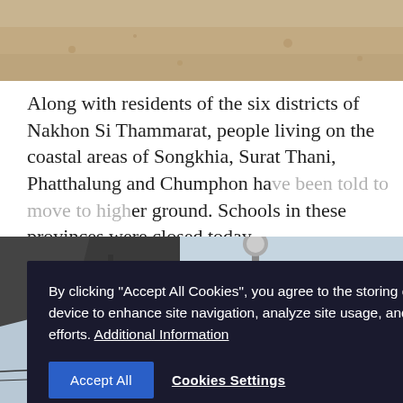[Figure (photo): Sandy beach or sandy ground surface, top portion of page]
Along with residents of the six districts of Nakhon Si Thammarat, people living on the coastal areas of Songkhia, Surat Thani, Phatthalung and Chumphon ha[ve been told to move to high]er ground. Schools in these provinces were closed today.
All ships in the Gulf of Thailand have been anchored since yesterday, while flights from affected provinces w[ere also cancel]led today.
By clicking "Accept All Cookies", you agree to the storing of cookies on your device to enhance site navigation, analyze site usage, and assist in our marketing efforts. Additional Information
[Figure (photo): Street scene with pier signage reading 'กาเรือราชา PIER 1' and power lines against cloudy sky]